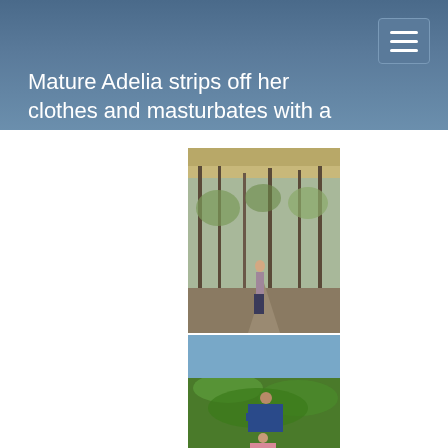Mature Adelia strips off her clothes and masturbates with a dildo
[Figure (photo): Vertical strip of three outdoor photographs stacked vertically: top shows a woman standing on a forest path among bare trees; middle shows two people on a mossy hillside; bottom shows a road scene with a sign and hills in background.]